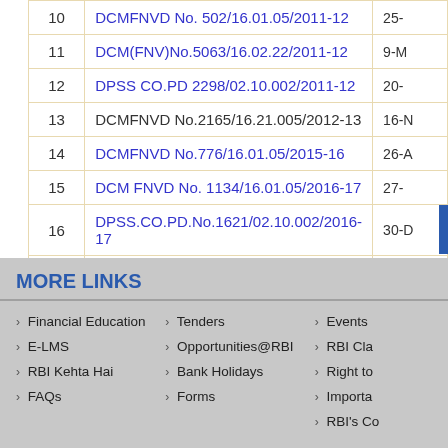| # | Circular Reference | Date |
| --- | --- | --- |
| 10 | DCMFNVD No. 502/16.01.05/2011-12 | 25-… |
| 11 | DCM(FNV)No.5063/16.02.22/2011-12 | 9-M… |
| 12 | DPSS CO.PD 2298/02.10.002/2011-12 | 20-… |
| 13 | DCMFNVD No.2165/16.21.005/2012-13 | 16-N… |
| 14 | DCMFNVD No.776/16.01.05/2015-16 | 26-A… |
| 15 | DCM FNVD No. 1134/16.01.05/2016-17 | 27-… |
| 16 | DPSS.CO.PD.No.1621/02.10.002/2016-17 | 30-D… |
| 17 | DCM (FNVD) G-7/16.01.05/17-18 | 15 Ja… |
MORE LINKS
Financial Education
E-LMS
RBI Kehta Hai
FAQs
Tenders
Opportunities@RBI
Bank Holidays
Forms
Events
RBI Cla…
Right to…
Importa…
RBI's Co…